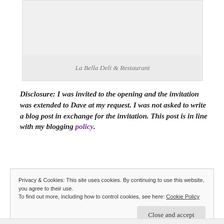[Figure (photo): Image of La Bella Deli & Restaurant — top portion shows a photo area (clipped), bottom portion is a light gray caption bar.]
La Bella Deli & Restaurant
Disclosure: I was invited to the opening and the invitation was extended to Dave at my request. I was not asked to write a blog post in exchange for the invitation. This post is in line with my blogging policy.
Privacy & Cookies: This site uses cookies. By continuing to use this website, you agree to their use.
To find out more, including how to control cookies, see here: Cookie Policy
Close and accept